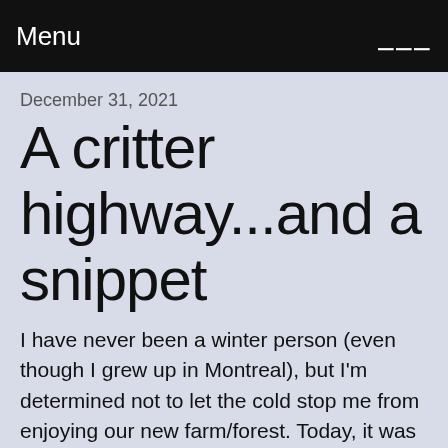Menu ☰
December 31, 2021
A critter highway...and a snippet
I have never been a winter person (even though I grew up in Montreal), but I'm determined not to let the cold stop me from enjoying our new farm/forest. Today, it was -6°C (about 21°F), which isn't so bad for this area. And there was not a breath of wind. I